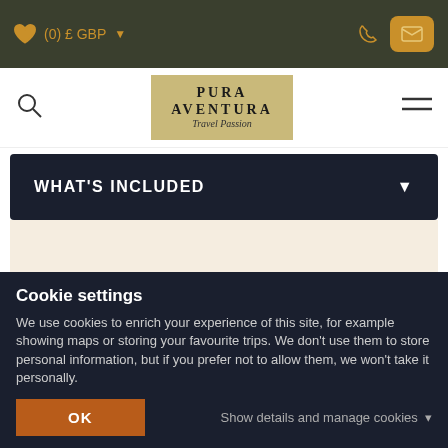(0) £ GBP
[Figure (logo): Pura Aventura Travel Passion logo on golden/khaki background]
WHAT'S INCLUDED
Travel with Pura
Cookie settings
We use cookies to enrich your experience of this site, for example showing maps or storing your favourite trips. We don't use them to store personal information, but if you prefer not to allow them, we won't take it personally.
OK
Show details and manage cookies